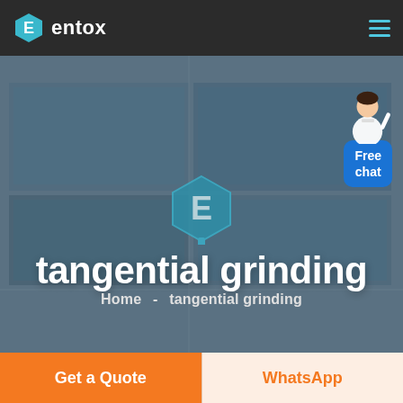entox
[Figure (screenshot): Aerial view of a large industrial facility with blue rooftops, used as hero background image for the Entox website page about tangential grinding.]
tangential grinding
Home  -  tangential grinding
[Figure (infographic): Free chat widget showing a customer service representative figure with a blue chat bubble labeled 'Free chat']
Get a Quote
WhatsApp